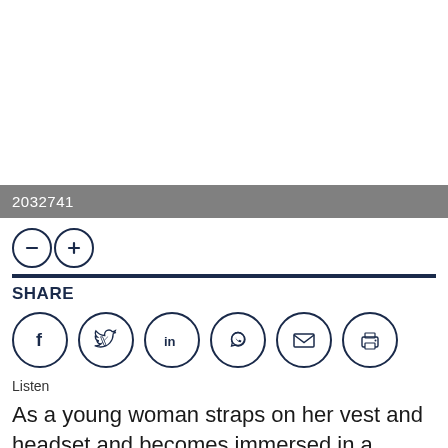[Figure (other): Large white/blank image area at top of page]
2032741
[Figure (other): Minus and plus font-size control buttons in circles]
SHARE
[Figure (other): Social share icons: Facebook, Twitter, LinkedIn, WhatsApp, Email, Print]
Listen
As a young woman straps on her vest and headset and becomes immersed in a virtual world, Mainak